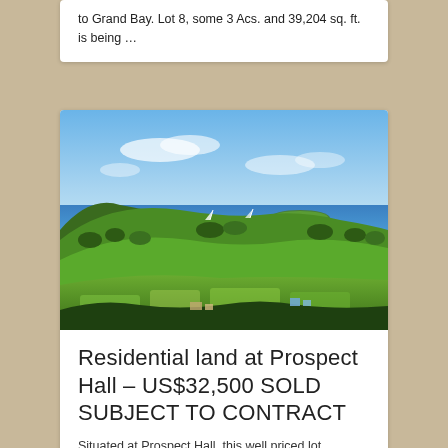to Grand Bay. Lot 8, some 3 Acs. and 39,204 sq. ft. is being …
[Figure (photo): Aerial view of a tropical coastline with green hills, palm trees, agricultural land in the foreground, and a blue ocean with a small island in the background under a clear sky.]
Residential land at Prospect Hall – US$32,500 SOLD SUBJECT TO CONTRACT
Situated at Prospect Hall, this well priced lot